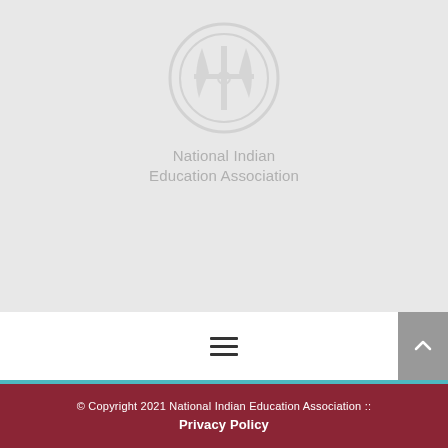[Figure (logo): National Indian Education Association circular logo, light gray/watermark style]
National Indian Education Association
[Figure (other): Hamburger menu icon (three horizontal lines) centered in white navigation bar]
© Copyright 2021 National Indian Education Association :: Privacy Policy